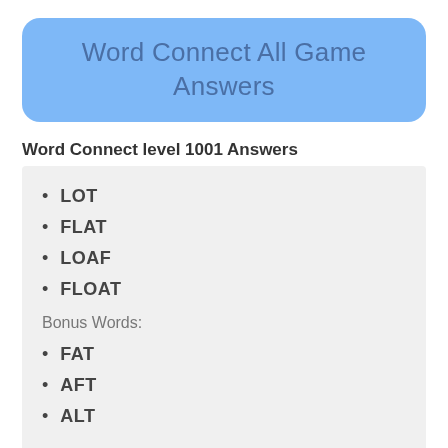Word Connect All Game Answers
Word Connect level 1001 Answers
LOT
FLAT
LOAF
FLOAT
Bonus Words:
FAT
AFT
ALT